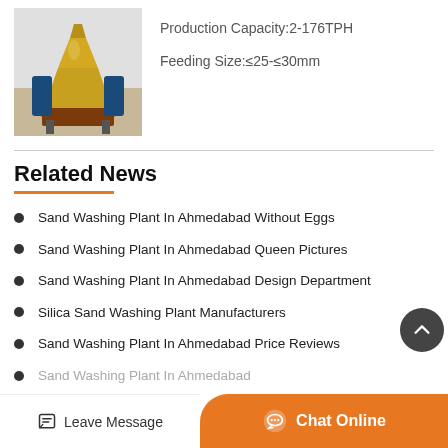[Figure (photo): Industrial cone crusher / sand washing plant machine in blue and yellow colors in a workshop setting]
Production Capacity:2-176TPH
Feeding Size:≤25-≤30mm
Related News
Sand Washing Plant In Ahmedabad Without Eggs
Sand Washing Plant In Ahmedabad Queen Pictures
Sand Washing Plant In Ahmedabad Design Department
Silica Sand Washing Plant Manufacturers
Sand Washing Plant In Ahmedabad Price Reviews
Sand Washing Plant In Ahmedabad
Leave Message
Chat Online